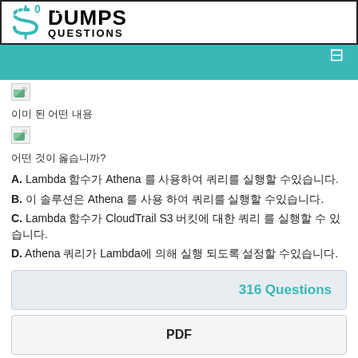[Figure (logo): DumpsQuestions logo with stylized S icon in teal header bar]
[Figure (illustration): Broken/missing image placeholder icon]
이미지 텍스트 설명 내용
[Figure (illustration): Broken/missing image placeholder icon]
어떤 것이 옳습니까?
A. Lambda 함수가 Athena 를 사용하여 쿼리를 실행할 수있습니다.
B. 이 솔루션은 Athena 를 사용 하여 쿼리를 실행할 수있습니다.
C. Lambda 함수가 CloudTrail S3 버킷에 대한 쿼리 를 실행할 수 있습니다.
D. Athena 쿼리가 Lambda에 의해 실행 되도록 설정할 수있습니다.
Answer: B
316 Questions
PDF